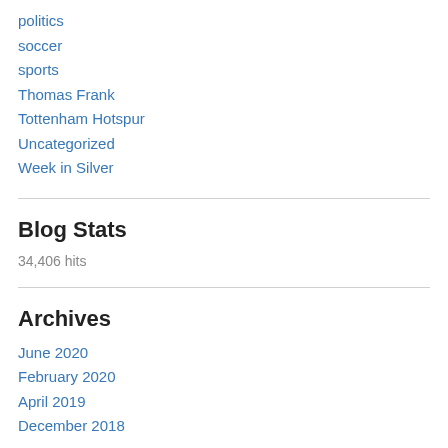politics
soccer
sports
Thomas Frank
Tottenham Hotspur
Uncategorized
Week in Silver
Blog Stats
34,406 hits
Archives
June 2020
February 2020
April 2019
December 2018